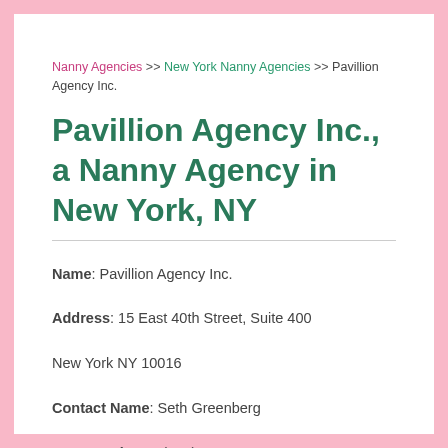Nanny Agencies >> New York Nanny Agencies >> Pavillion Agency Inc.
Pavillion Agency Inc., a Nanny Agency in New York, NY
Name: Pavillion Agency Inc. Address: 15 East 40th Street, Suite 400 New York NY 10016 Contact Name: Seth Greenberg Contact Phone: (212) 889-6609